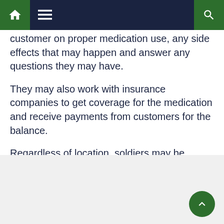Navigation bar with home, menu, and search icons
customer on proper medication use, any side effects that may happen and answer any questions they may have.
They may also work with insurance companies to get coverage for the medication and receive payments from customers for the balance.
Regardless of location, soldiers may be required to perform inventory checks.
[Figure (other): Gray content placeholder box at the bottom of the page with a back-to-top green circular button in the bottom right corner]